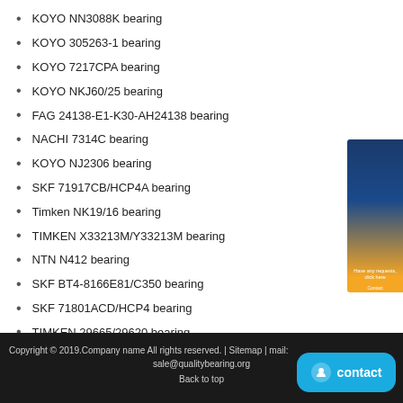KOYO NN3088K bearing
KOYO 305263-1 bearing
KOYO 7217CPA bearing
KOYO NKJ60/25 bearing
FAG 24138-E1-K30-AH24138 bearing
NACHI 7314C bearing
KOYO NJ2306 bearing
SKF 71917CB/HCP4A bearing
Timken NK19/16 bearing
TIMKEN X33213M/Y33213M bearing
NTN N412 bearing
SKF BT4-8166E81/C350 bearing
SKF 71801ACD/HCP4 bearing
TIMKEN 29665/29620 bearing
SKF 7222ACD/P4A bearing
SKF NA4906 bearing
Timken B-3228 bearing
Copyright © 2019.Company name All rights reserved. | Sitemap | mail: sale@qualitybearing.org
Back to top